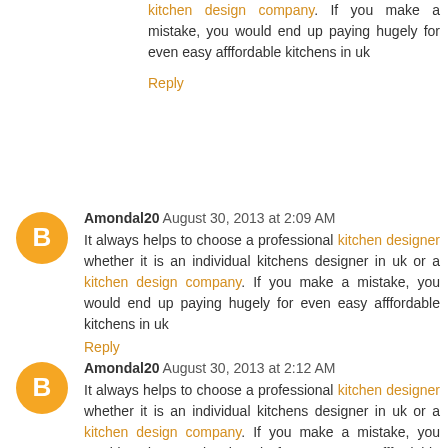kitchen design company. If you make a mistake, you would end up paying hugely for even easy afffordable kitchens in uk
Reply
Amondal20 August 30, 2013 at 2:09 AM
It always helps to choose a professional kitchen designer whether it is an individual kitchens designer in uk or a kitchen design company. If you make a mistake, you would end up paying hugely for even easy afffordable kitchens in uk
Reply
Amondal20 August 30, 2013 at 2:12 AM
It always helps to choose a professional kitchen designer whether it is an individual kitchens designer in uk or a kitchen design company. If you make a mistake, you would end up paying hugely for even easy afffordable kitchens in